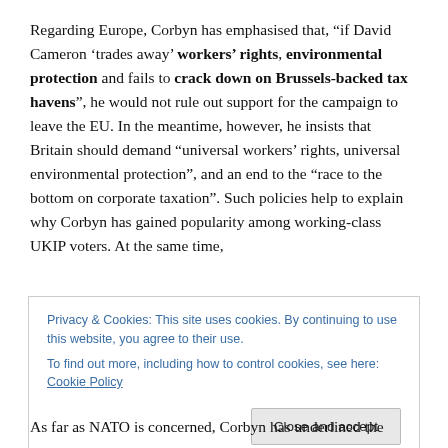Regarding Europe, Corbyn has emphasised that, “if David Cameron ‘trades away’ workers’ rights, environmental protection and fails to crack down on Brussels-backed tax havens”, he would not rule out support for the campaign to leave the EU. In the meantime, however, he insists that Britain should demand “universal workers’ rights, universal environmental protection”, and an end to the “race to the bottom on corporate taxation”. Such policies help to explain why Corbyn has gained popularity among working-class UKIP voters. At the same time,
Privacy & Cookies: This site uses cookies. By continuing to use this website, you agree to their use.
To find out more, including how to control cookies, see here: Cookie Policy
As far as NATO is concerned, Corbyn has underlined the